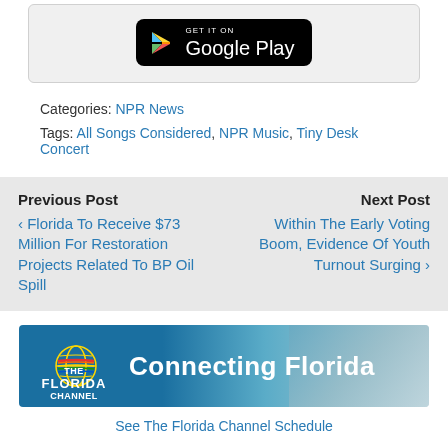[Figure (other): Google Play store download button badge with Play triangle icon]
Categories: NPR News
Tags: All Songs Considered, NPR Music, Tiny Desk Concert
Previous Post
‹ Florida To Receive $73 Million For Restoration Projects Related To BP Oil Spill
Next Post
Within The Early Voting Boom, Evidence Of Youth Turnout Surging ›
[Figure (other): The Florida Channel banner advertisement — Connecting Florida]
See The Florida Channel Schedule